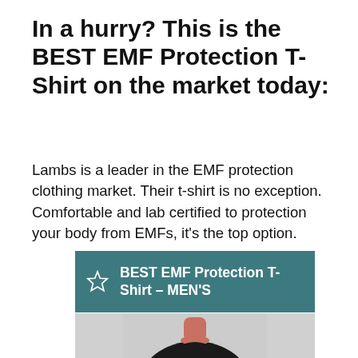In a hurry? This is the BEST EMF Protection T-Shirt on the market today:
Lambs is a leader in the EMF protection clothing market. Their t-shirt is no exception. Comfortable and lab certified to protection your body from EMFs, it’s the top option.
[Figure (infographic): Teal/dark cyan banner with a star outline icon on the left and bold white text reading 'BEST EMF Protection T-Shirt – MEN’S']
[Figure (photo): Bottom portion of a person wearing a black t-shirt, showing neck and upper torso area, partially cropped]